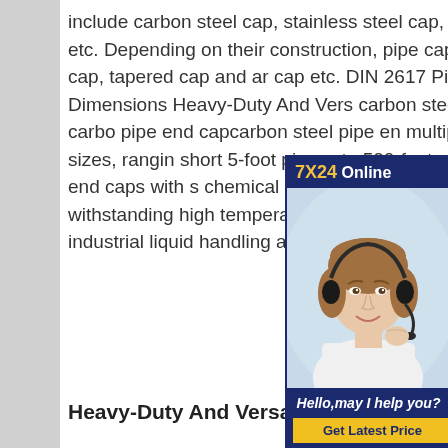include carbon steel cap, stainless steel cap, and alloy steel cap etc. Depending on their construction, pipe caps contain threaded cap, tapered cap and ar cap etc. DIN 2617 Pipe End Cap Dimensions Heavy-Duty And Vers carbon steel pipe end caps carbo pipe end capcarbon steel pipe en multiple lengths and sizes, rangin short 5-foot pieces to 500-foot ro carbon steel pipe end caps with s chemical resistance properties ar capable of withstanding high temperature perfect for cold and hot water industrial liquid handling and sewage applications. The.
[Figure (other): Advertisement overlay showing a customer service representative wearing a headset. Dark navy blue background with '7X24 Online' heading in yellow and white, a photo of a smiling woman with headset, and a 'Hello,may I help you?' message with a yellow 'Get Latest Price' button.]
Heavy-Duty And Versatile carbon steel